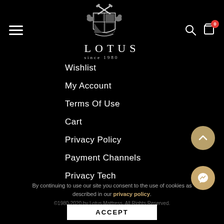[Figure (logo): Lotus Mattress heraldic crest logo with crossed tools, shield, and animals. Text reads LOTUS since 1980.]
Wishlist
My Account
Terms Of Use
Cart
Privacy Policy
Payment Channels
Privacy Tech
By continuing to use our site you consent to the use of cookies as described in our privacy policy.
©1980-2020 by Lotus Mattress. All Rights Reserved.